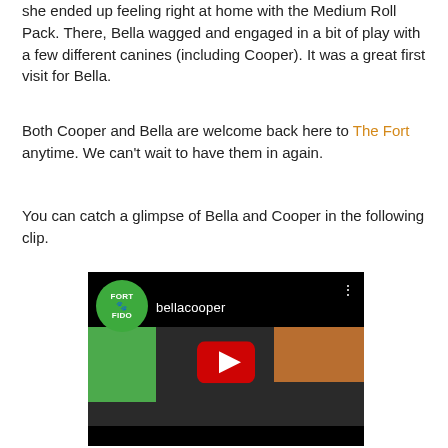she ended up feeling right at home with the Medium Roll Pack. There, Bella wagged and engaged in a bit of play with a few different canines (including Cooper). It was a great first visit for Bella.
Both Cooper and Bella are welcome back here to The Fort anytime. We can't wait to have them in again.
You can catch a glimpse of Bella and Cooper in the following clip.
[Figure (screenshot): Video thumbnail showing a YouTube-style video player with a Fort Fido logo (green circle) in the upper left, the text 'bellacooper' as the video title, a red YouTube play button in the center, and a dog play area with green walls visible in the background. A small dog can be seen in the play area.]